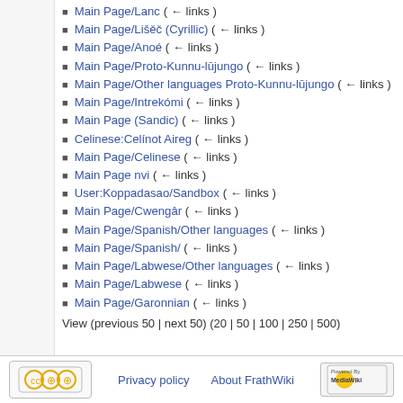Main Page/Lanc  (← links)
Main Page/Lišěč (Cyrillic)  (← links)
Main Page/Anoé  (← links)
Main Page/Proto-Kunnu-lūjungo  (← links)
Main Page/Other languages Proto-Kunnu-lūjungo  (← links)
Main Page/Intrekómi  (← links)
Main Page (Sandic)  (← links)
Celinese:Celínot Aireg  (← links)
Main Page/Celinese  (← links)
Main Page nvi  (← links)
User:Koppadasao/Sandbox  (← links)
Main Page/Cwengâr  (← links)
Main Page/Spanish/Other languages  (← links)
Main Page/Spanish/  (← links)
Main Page/Labwese/Other languages  (← links)
Main Page/Labwese  (← links)
Main Page/Garonnian  (← links)
View (previous 50 | next 50) (20 | 50 | 100 | 250 | 500)
Privacy policy   About FrathWiki